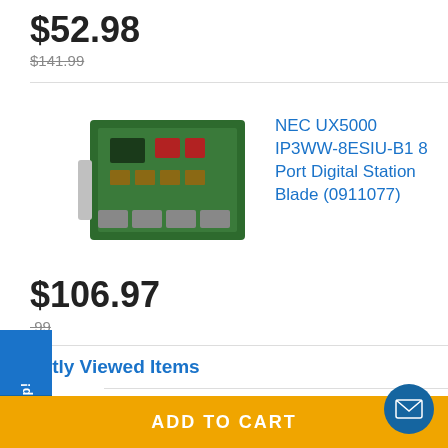$52.98
$141.99
[Figure (photo): NEC UX5000 IP3WW-8ESIU-B1 8 Port Digital Station Blade circuit board]
NEC UX5000 IP3WW-8ESIU-B1 8 Port Digital Station Blade (0911077)
$106.97
$___99 (partially obscured)
ently Viewed Items
[Figure (photo): NEC UX5000 32-Resource VoIP circuit board (partially visible)]
NEC UX5000 32-Resource VoIP
ADD TO CART